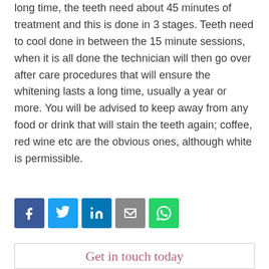long time, the teeth need about 45 minutes of treatment and this is done in 3 stages. Teeth need to cool done in between the 15 minute sessions, when it is all done the technician will then go over after care procedures that will ensure the whitening lasts a long time, usually a year or more. You will be advised to keep away from any food or drink that will stain the teeth again; coffee, red wine etc are the obvious ones, although white is permissible.
[Figure (infographic): Social sharing icons: Facebook (blue), Twitter (light blue), LinkedIn (dark blue), Email (grey), WhatsApp (green)]
Get in touch today